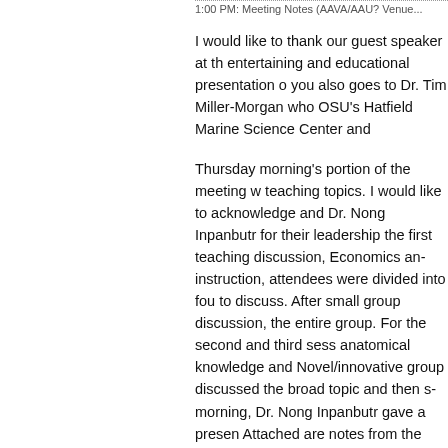1:00 PM: Meeting Notes (AAVA/AAU? Venue...
I would like to thank our guest speaker at th... entertaining and educational presentation o... you also goes to Dr. Tim Miller-Morgan who... OSU's Hatfield Marine Science Center and...
Thursday morning's portion of the meeting w... teaching topics. I would like to acknowledge... and Dr. Nong Inpanbutr for their leadership... the first teaching discussion, Economics an... instruction, attendees were divided into fou... to discuss. After small group discussion, the... entire group. For the second and third sess... anatomical knowledge and Novel/innovative... group discussed the broad topic and then s... morning, Dr. Nong Inpanbutr gave a presen... Attached are notes from the teaching discus... posted on the AAVA website soon. If you ha... discussions, please contribute.
Also attached are the AAVA president's and...